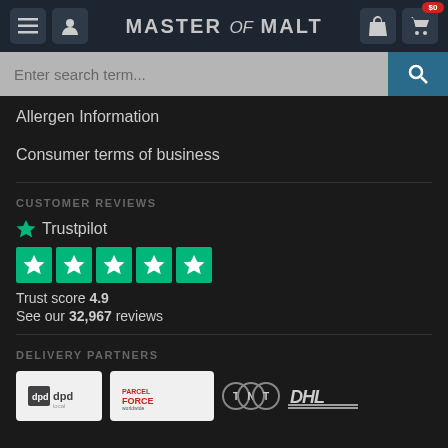MASTER of MALT
Allergen Information
Consumer terms of business
CUSTOMER REVIEWS
[Figure (logo): Trustpilot logo with green star and text 'Trustpilot', five green star rating boxes, Trust score 4.9, See our 32,967 reviews]
DELIVERY PARTNERS
[Figure (logo): Delivery partner logos: DPD, Parcelforce Worldwide, TNT, DHL]